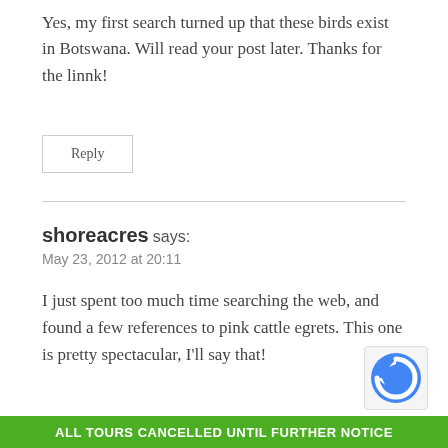Yes, my first search turned up that these birds exist in Botswana. Will read your post later. Thanks for the linnk!
Reply
shoreacres says:
May 23, 2012 at 20:11
I just spent too much time searching the web, and found a few references to pink cattle egrets. This one is pretty spectacular, I'll say that!
ALL TOURS CANCELLED UNTIL FURTHER NOTICE